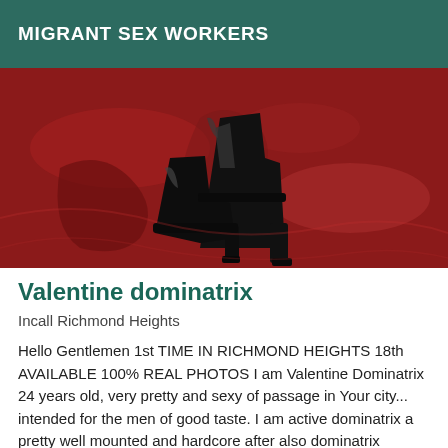MIGRANT SEX WORKERS
[Figure (photo): Black patent leather high-heeled platform boots lying on a shiny red surface]
Valentine dominatrix
Incall Richmond Heights
Hello Gentlemen 1st TIME IN RICHMOND HEIGHTS 18th AVAILABLE 100% REAL PHOTOS I am Valentine Dominatrix 24 years old, very pretty and sexy of passage in Your city... intended for the men of good taste. I am active dominatrix a pretty well mounted and hardcore after also dominatrix Privates onto...